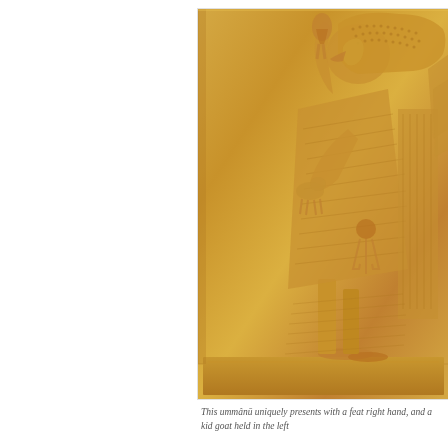[Figure (photo): Golden-colored relief sculpture showing a figure (ummânû) in ancient Near Eastern style with a bird head (eagle or Anzu), holding items including a kid goat in the left hand, depicted in profile with detailed garments and headdress with dotted texture, mounted on a rectangular stone plaque with a base.]
This ummânû uniquely presents with a feat right hand, and a kid goat held in the left